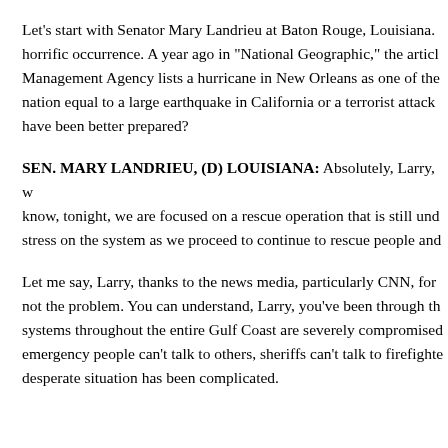Let's start with Senator Mary Landrieu at Baton Rouge, Louisiana. horrific occurrence. A year ago in "National Geographic," the article Management Agency lists a hurricane in New Orleans as one of the nation equal to a large earthquake in California or a terrorist attack have been better prepared?
SEN. MARY LANDRIEU, (D) LOUISIANA: Absolutely, Larry, w know, tonight, we are focused on a rescue operation that is still und stress on the system as we proceed to continue to rescue people and
Let me say, Larry, thanks to the news media, particularly CNN, for not the problem. You can understand, Larry, you've been through th systems throughout the entire Gulf Coast are severely compromised emergency people can't talk to others, sheriffs can't talk to firefighte desperate situation has been complicated.